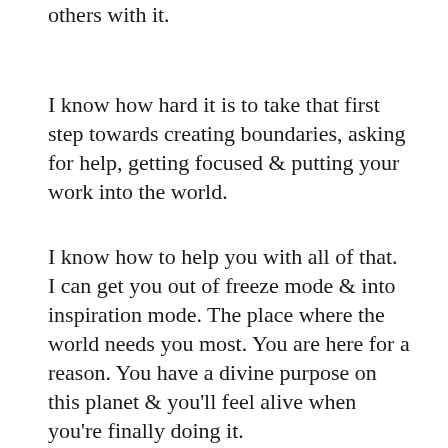others with it.
I know how hard it is to take that first step towards creating boundaries, asking for help, getting focused & putting your work into the world.
I know how to help you with all of that. I can get you out of freeze mode & into inspiration mode. The place where the world needs you most. You are here for a reason. You have a divine purpose on this planet & you'll feel alive when you're finally doing it.